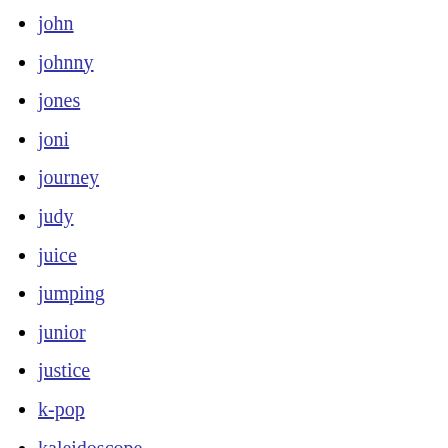john
johnny
jones
joni
journey
judy
juice
jumping
junior
justice
k-pop
kaleidoscope
karl
kate
kayak
keith
kendall
kenny
kent
khruangbin
killer
killers
kills
king
kings
kinks
kinks-rare
kiss